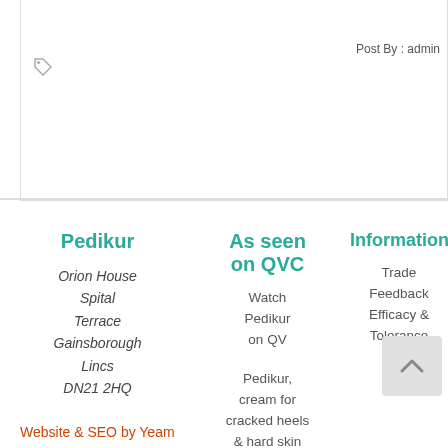Post By : admin
Pedikur
Orion House Spital Terrace Gainsborough Lincs DN21 2HQ
As seen on QVC
Watch Pedikur on QV
Pedikur, cream for cracked heels & hard skin video
Information
Trade Feedback Efficacy & Tolerance
Website & SEO by Yeam